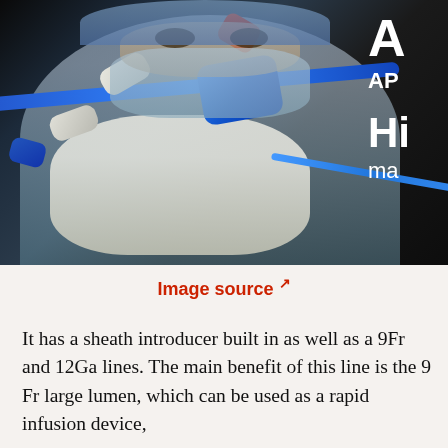[Figure (photo): A medical professional wearing surgical mask, cap, and white gloves holds a multi-lumen central venous catheter with introducer sheath toward the camera. The catheter has a blue main tube with red, white, and blue ports. Text overlaid on the right side reads 'A', 'AP', 'Hi', 'ma'. Dark background.]
Image source ↗
It has a sheath introducer built in as well as a 9Fr and 12Ga lines. The main benefit of this line is the 9 Fr large lumen, which can be used as a rapid infusion device,